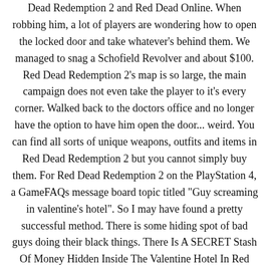Dead Redemption 2 and Red Dead Online. When robbing him, a lot of players are wondering how to open the locked door and take whatever's behind them. We managed to snag a Schofield Revolver and about $100. Red Dead Redemption 2's map is so large, the main campaign does not even take the player to it's every corner. Walked back to the doctors office and no longer have the option to have him open the door... weird. You can find all sorts of unique weapons, outfits and items in Red Dead Redemption 2 but you cannot simply buy them. For Red Dead Redemption 2 on the PlayStation 4, a GameFAQs message board topic titled "Guy screaming in valentine's hotel". So I may have found a pretty successful method. There is some hiding spot of bad guys doing their black things. There Is A SECRET Stash Of Money Hidden Inside The Valentine Hotel In Red Dead Redemption 2! Taking a bath costs 25 cents. As we have mentioned above the Moose in Red Dead Redemption 2 are classified as giants and massive